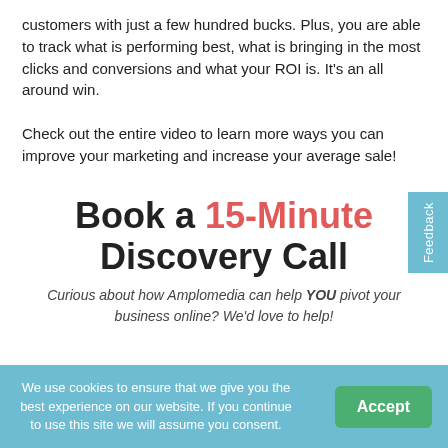customers with just a few hundred bucks. Plus, you are able to track what is performing best, what is bringing in the most clicks and conversions and what your ROI is. It's an all around win.
Check out the entire video to learn more ways you can improve your marketing and increase your average sale!
Book a 15-Minute Discovery Call
Curious about how Amplomedia can help YOU pivot your business online? We'd love to help!
We use cookies to ensure that we give you the best experience on our website. If you continue to use this site we will assume you consent.